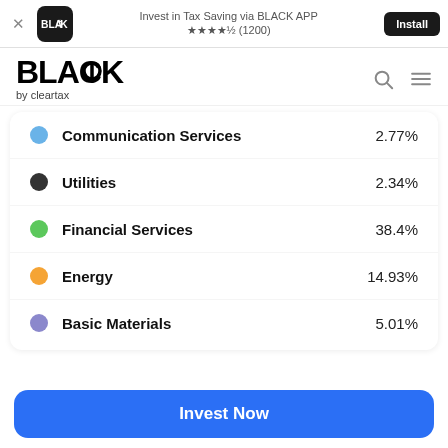[Figure (screenshot): App install banner for BLACK by ClearTax app with install button]
[Figure (logo): BLACK by cleartax logo with search and menu icons]
Communication Services  2.77%
Utilities  2.34%
Financial Services  38.4%
Energy  14.93%
Basic Materials  5.01%
Invest Now